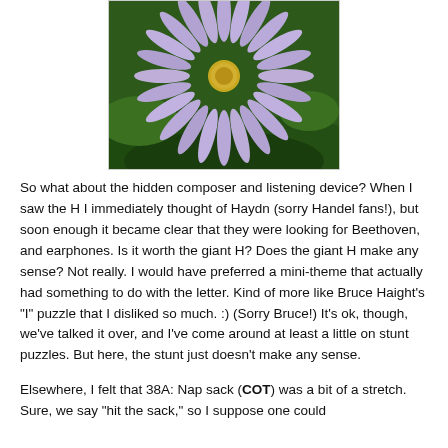[Figure (photo): Close-up photograph of a purple/lavender daisy-like flower (aster) with yellow center, green foliage in background]
So what about the hidden composer and listening device? When I saw the H I immediately thought of Haydn (sorry Handel fans!), but soon enough it became clear that they were looking for Beethoven, and earphones. Is it worth the giant H? Does the giant H make any sense? Not really. I would have preferred a mini-theme that actually had something to do with the letter. Kind of more like Bruce Haight's "I" puzzle that I disliked so much. :) (Sorry Bruce!) It's ok, though, we've talked it over, and I've come around at least a little on stunt puzzles. But here, the stunt just doesn't make any sense.
Elsewhere, I felt that 38A: Nap sack (COT) was a bit of a stretch. Sure, we say "hit the sack," so I suppose one could